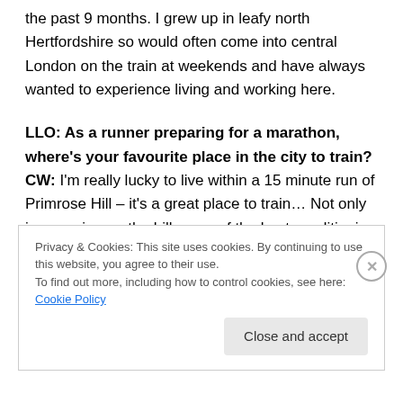the past 9 months. I grew up in leafy north Hertfordshire so would often come into central London on the train at weekends and have always wanted to experience living and working here.
LLO: As a runner preparing for a marathon, where's your favourite place in the city to train?
CW: I'm really lucky to live within a 15 minute run of Primrose Hill – it's a great place to train… Not only is powering up the hill some of the best conditioning training you can do, it's such a beautiful view when you reach the
Privacy & Cookies: This site uses cookies. By continuing to use this website, you agree to their use.
To find out more, including how to control cookies, see here: Cookie Policy
Close and accept